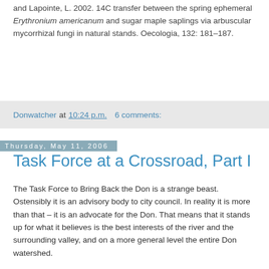and Lapointe, L. 2002. 14C transfer between the spring ephemeral Erythronium americanum and sugar maple saplings via arbuscular mycorrhizal fungi in natural stands. Oecologia, 132: 181–187.
Donwatcher at 10:24 p.m.   6 comments:
Thursday, May 11, 2006
Task Force at a Crossroad, Part I
The Task Force to Bring Back the Don is a strange beast. Ostensibly it is an advisory body to city council. In reality it is more than that – it is an advocate for the Don. That means that it stands up for what it believes is the best interests of the river and the surrounding valley, and on a more general level the entire Don watershed.